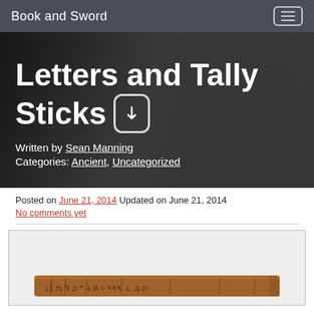Book and Sword
Letters and Tally Sticks
Written by Sean Manning
Categories: Ancient, Uncategorized
Posted on June 21, 2014 Updated on June 21, 2014
No comments yet
[Figure (photo): A wooden tally stick with ancient script inscribed on it, shown against a light background.]